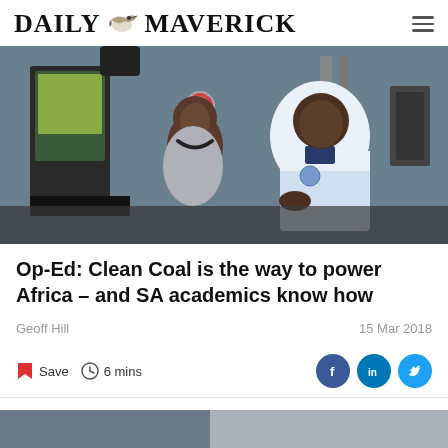DAILY MAVERICK
[Figure (photo): Two people in a laboratory setting; a woman with a bead necklace smiling at a taller man in a light blue polo shirt, with scientific equipment in the background.]
Op-Ed: Clean Coal is the way to power Africa – and SA academics know how
Geoff Hill
15 Mar 2018
Save  6 mins